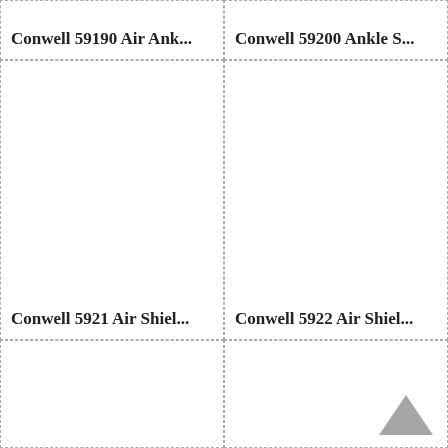[Figure (other): Product thumbnail placeholder for Conwell 59190 Air Ank...]
Conwell 59190 Air Ank...
[Figure (other): Product thumbnail placeholder for Conwell 59200 Ankle S...]
Conwell 59200 Ankle S...
[Figure (other): Product thumbnail placeholder for Conwell 5921 Air Shiel...]
Conwell 5921 Air Shiel...
[Figure (other): Product thumbnail placeholder for Conwell 5922 Air Shiel...]
Conwell 5922 Air Shiel...
[Figure (other): Product thumbnail placeholder (bottom left, no label visible)]
[Figure (other): Product thumbnail placeholder (bottom right, no label visible) with back-to-top arrow]